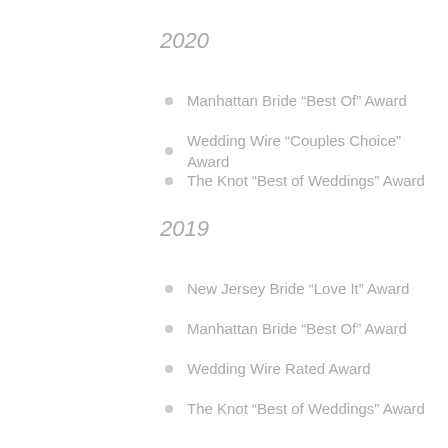2020
Manhattan Bride “Best Of” Award
Wedding Wire “Couples Choice” Award
The Knot “Best of Weddings” Award
2019
New Jersey Bride “Love It” Award
Manhattan Bride “Best Of” Award
Wedding Wire Rated Award
The Knot “Best of Weddings” Award
2018
New Jersey Bride “Love It” Award
Manhattan Bride “Best Of” Award
Wedding Wire Rated Award